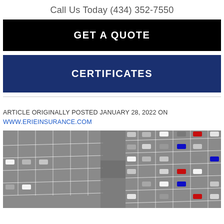Call Us Today (434) 352-7550
GET A QUOTE
CERTIFICATES
ARTICLE ORIGINALLY POSTED JANUARY 28, 2022 ON WWW.ERIEINSURANCE.COM
[Figure (photo): Aerial view of a parking lot with cars parked in marked spaces, viewed from above at an angle.]